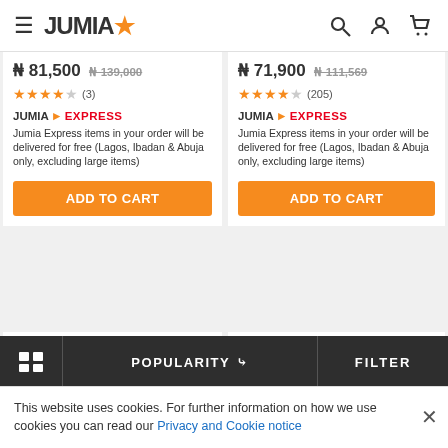JUMIA — navigation header with hamburger menu, search, account, and cart icons
₦ 81,500  ₦ 139,000
★★★★☆ (3)
JUMIA EXPRESS
Jumia Express items in your order will be delivered for free (Lagos, Ibadan & Abuja only, excluding large items)
ADD TO CART
₦ 71,900  ₦ 111,569
★★★★☆ (205)
JUMIA EXPRESS
Jumia Express items in your order will be delivered for free (Lagos, Ibadan & Abuja only, excluding large items)
ADD TO CART
Free Delivery*  -4%
-33%
POPULARITY ∨   FILTER
This website uses cookies. For further information on how we use cookies you can read our Privacy and Cookie notice